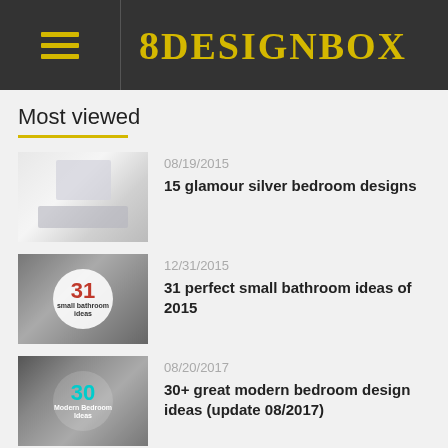8DESIGNBOX
Most viewed
08/19/2015 — 15 glamour silver bedroom designs
12/31/2015 — 31 perfect small bathroom ideas of 2015
08/20/2017 — 30+ great modern bedroom design ideas (update 08/2017)
03/02/2016 — Pagoda House by IO Architects